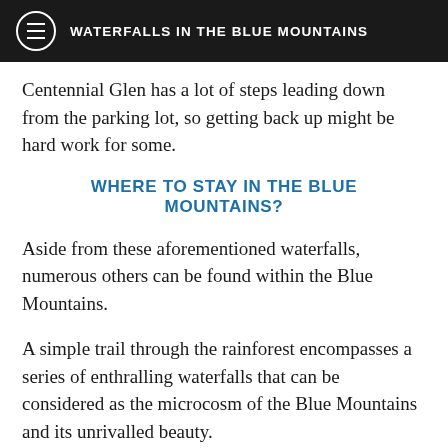WATERFALLS IN THE BLUE MOUNTAINS
Centennial Glen has a lot of steps leading down from the parking lot, so getting back up might be hard work for some.
WHERE TO STAY IN THE BLUE MOUNTAINS?
Aside from these aforementioned waterfalls, numerous others can be found within the Blue Mountains.
A simple trail through the rainforest encompasses a series of enthralling waterfalls that can be considered as the microcosm of the Blue Mountains and its unrivalled beauty.
Of course, there are too many waterfalls to see in